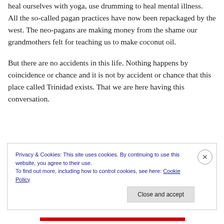heal ourselves with yoga, use drumming to heal mental illness.  All the so-called pagan practices have now been repackaged by the west. The neo-pagans are making money from the shame our grandmothers felt for teaching us to make coconut oil.
But there are no accidents in this life. Nothing happens by coincidence or chance and it is not by accident or chance that this place called Trinidad exists. That we are here having this conversation.
Privacy & Cookies: This site uses cookies. By continuing to use this website, you agree to their use.
To find out more, including how to control cookies, see here: Cookie Policy
Close and accept